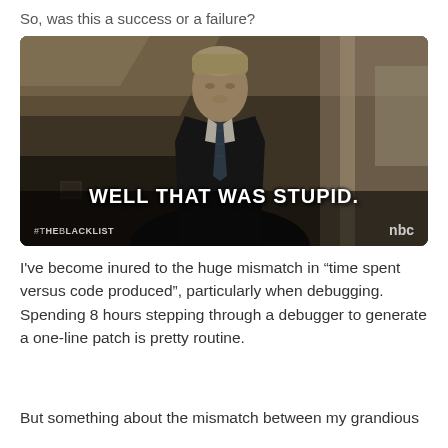So, was this a success or a failure?
[Figure (photo): Screenshot from The Blacklist TV show on NBC. A man in a dark suit with a striped tie is shown inside a house. White subtitle text reads: WELL THAT WAS STUPID. Watermarks show #TheBlacklist on the left and NBC logo on the right.]
I've become inured to the huge mismatch in “time spent versus code produced”, particularly when debugging. Spending 8 hours stepping through a debugger to generate a one-line patch is pretty routine.
But something about the mismatch between my grandious